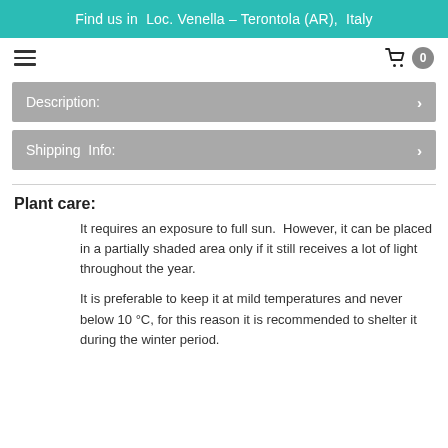Find us in Loc. Venella – Terontola (AR), Italy
Description:
Shipping Info:
Plant care:
It requires an exposure to full sun. However, it can be placed in a partially shaded area only if it still receives a lot of light throughout the year.
It is preferable to keep it at mild temperatures and never below 10 °C, for this reason it is recommended to shelter it during the winter period.